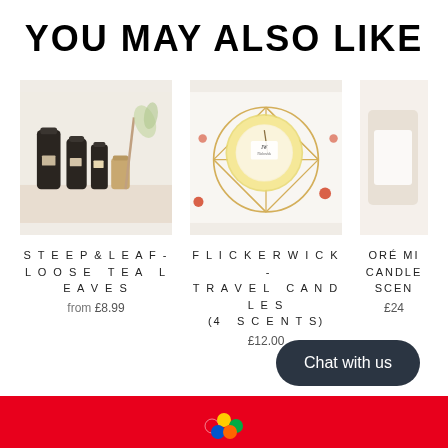YOU MAY ALSO LIKE
[Figure (photo): Photo of Steep & Leaf loose tea leaf bottles and accessories on a table]
STEEP & LEAF - LOOSE TEA LEAVES
from £8.99
[Figure (photo): Photo of Flickerwick travel candle in a gold tin on a decorative golden geometric coaster with cherry pattern background]
FLICKERWICK - TRAVEL CANDLES (4 SCENTS)
£12.00
ORÉ MI... CANDLE... SCEN...
£24...
Chat with us